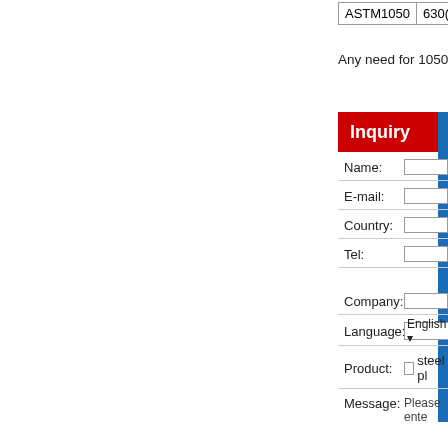|  |  |  |
| --- | --- | --- |
| ASTM1050 | 630(64) | 3 |
Any need for 1050 steel specifica
Inquiry
[Figure (infographic): Blue icon boxes with headset, phone, and Skype icons on right side of inquiry form]
Name:
E-mail:
Country:
Tel:
Company:
Language:
Product:
steel pl
Message:
Please ente